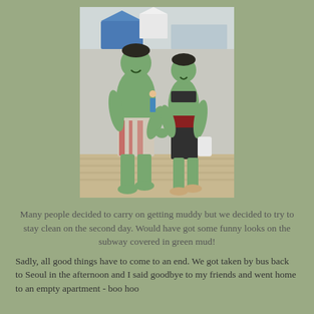[Figure (photo): Two people with green mud/paint all over their bodies walking hand-in-hand at what appears to be an outdoor festival. The man is shirtless wearing patterned shorts, the woman is wearing a bikini top and dark shorts. Background shows tents and other festival-goers.]
Many people decided to carry on getting muddy but we decided to try to stay clean on the second day. Would have got some funny looks on the subway covered in green mud!
Sadly, all good things have to come to an end. We got taken by bus back to Seoul in the afternoon and I said goodbye to my friends and went home to an empty apartment - boo hoo